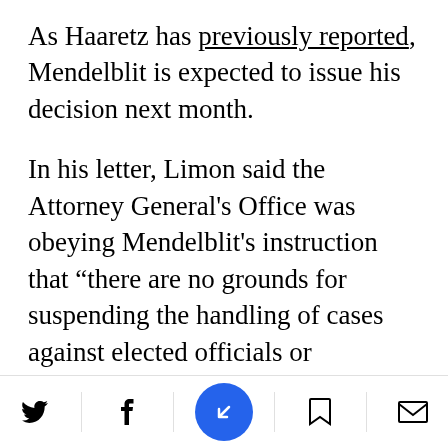As Haaretz has previously reported, Mendelblit is expected to issue his decision next month.
In his letter, Limon said the Attorney General's Office was obeying Mendelblit's instruction that “there are no grounds for suspending the handling of cases against elected officials or candidates” if police have finished investigating and the cases are merely awaiting a prosecutor’s decision. Though the cases will be handled “with the requisite caution,” he added, prosecutors will be guided “strictly b…ssional
Social sharing toolbar: Twitter, Facebook, Share button, Bookmark, Email